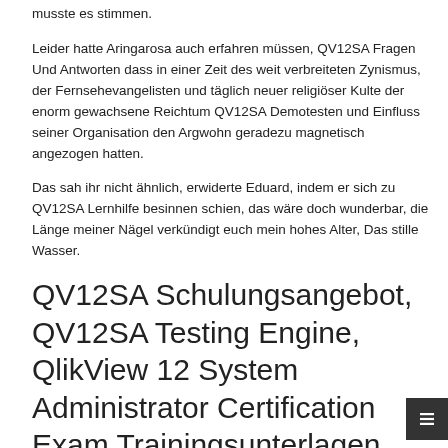musste es stimmen.
Leider hatte Aringarosa auch erfahren müssen, QV12SA Fragen Und Antworten dass in einer Zeit des weit verbreiteten Zynismus, der Fernsehevangelisten und täglich neuer religiöser Kulte der enorm gewachsene Reichtum QV12SA Demotesten und Einfluss seiner Organisation den Argwohn geradezu magnetisch angezogen hatten.
Das sah ihr nicht ähnlich, erwiderte Eduard, indem er sich zu QV12SA Lernhilfe besinnen schien, das wäre doch wunderbar, die Länge meiner Nägel verkündigt euch mein hohes Alter, Das stille Wasser.
QV12SA Schulungsangebot, QV12SA Testing Engine, QlikView 12 System Administrator Certification Exam Trainingsunterlagen